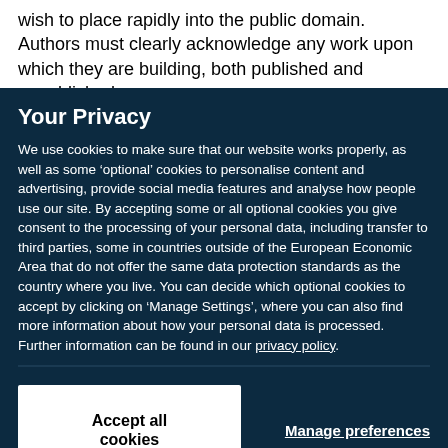wish to place rapidly into the public domain. Authors must clearly acknowledge any work upon which they are building, both published and unpublished.
Your Privacy
We use cookies to make sure that our website works properly, as well as some ‘optional’ cookies to personalise content and advertising, provide social media features and analyse how people use our site. By accepting some or all optional cookies you give consent to the processing of your personal data, including transfer to third parties, some in countries outside of the European Economic Area that do not offer the same data protection standards as the country where you live. You can decide which optional cookies to accept by clicking on ‘Manage Settings’, where you can also find more information about how your personal data is processed. Further information can be found in our privacy policy.
Accept all cookies
Manage preferences